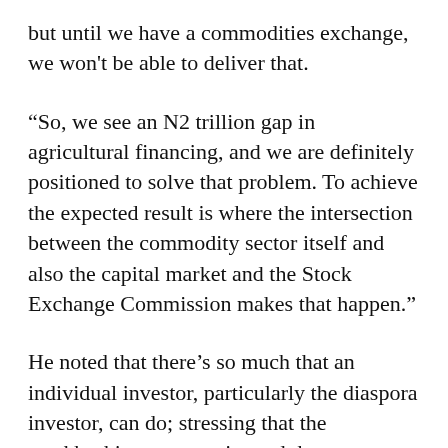but until we have a commodities exchange, we won't be able to deliver that.
“So, we see an N2 trillion gap in agricultural financing, and we are definitely positioned to solve that problem. To achieve the expected result is where the intersection between the commodity sector itself and also the capital market and the Stock Exchange Commission makes that happen.”
He noted that there’s so much that an individual investor, particularly the diaspora investor, can do; stressing that the stockbroking community and the investment public are an excellent